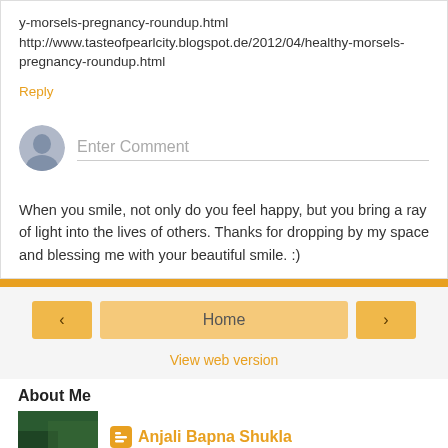y-morsels-pregnancy-roundup.html http://www.tasteofpearlcity.blogspot.de/2012/04/healthy-morsels-pregnancy-roundup.html
Reply
[Figure (other): Comment input box with avatar placeholder and 'Enter Comment' placeholder text]
When you smile, not only do you feel happy, but you bring a ray of light into the lives of others. Thanks for dropping by my space and blessing me with your beautiful smile. :)
‹ Home ›
View web version
About Me
Anjali Bapna Shukla